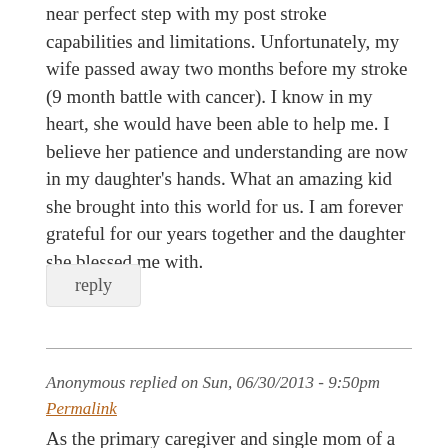near perfect step with my post stroke capabilities and limitations. Unfortunately, my wife passed away two months before my stroke (9 month battle with cancer). I know in my heart, she would have been able to help me. I believe her patience and understanding are now in my daughter's hands. What an amazing kid she brought into this world for us. I am forever grateful for our years together and the daughter she blessed me with.
reply
Anonymous replied on Sun, 06/30/2013 - 9:50pm
Permalink
As the primary caregiver and single mom of a